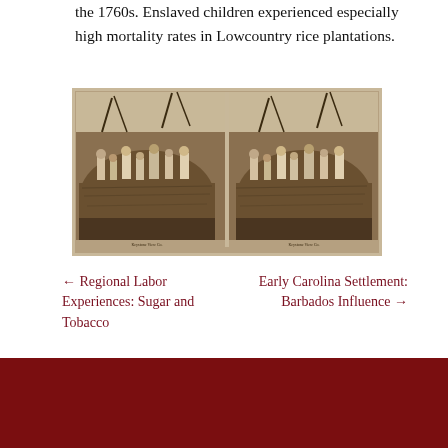the 1760s. Enslaved children experienced especially high mortality rates in Lowcountry rice plantations.
[Figure (photo): Stereoscopic photograph showing a group of people on a large haystack or agricultural mound in a field, sepia-toned historical image.]
← Regional Labor Experiences: Sugar and Tobacco
Early Carolina Settlement: Barbados Influence →